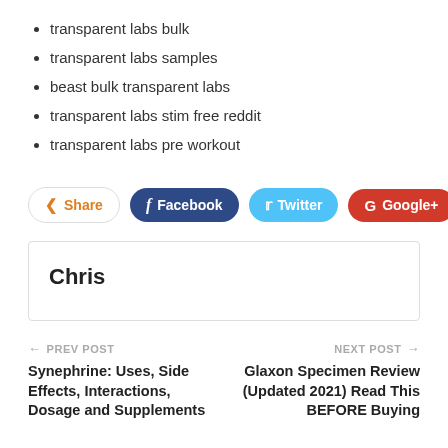transparent labs bulk
transparent labs samples
beast bulk transparent labs
transparent labs stim free reddit
transparent labs pre workout
Share | Facebook | Twitter | Google+
Chris
← PREV POST  Synephrine: Uses, Side Effects, Interactions, Dosage and Supplements
NEXT POST →  Glaxon Specimen Review (Updated 2021) Read This BEFORE Buying